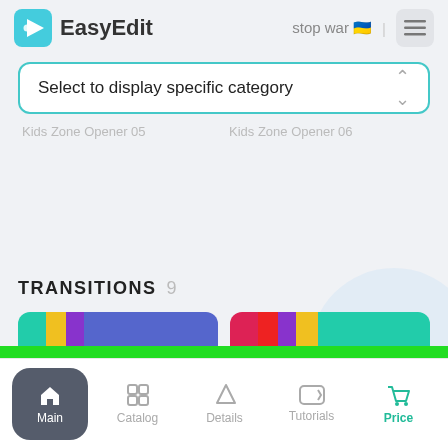EasyEdit   stop war 🇺🇦 | ≡
Select to display specific category
Kids Zone Opener 05   Kids Zone Opener 06
TRANSITIONS 9
[Figure (screenshot): Two colorful transition thumbnail cards with teal, yellow, purple, and red/blue/yellow stripes]
NEW 🔥 : 2000 Presets Pro for After Effects   Check now!   Help
Main   Catalog   Details   Tutorials   Price